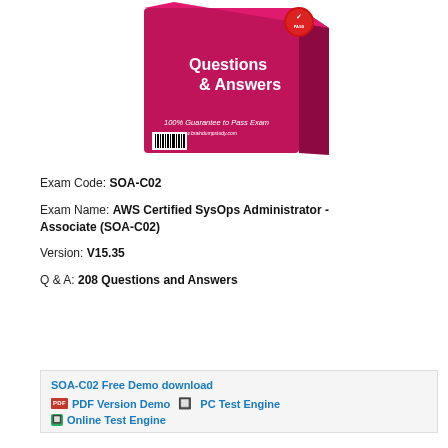[Figure (photo): Product box image showing 'Questions & Answers' study guide with pink/magenta color, '100% Guarantee to Pass Exam' text, barcode, and a certified checkmark badge in the top right corner.]
Exam Code: SOA-C02
Exam Name: AWS Certified SysOps Administrator - Associate (SOA-C02)
Version: V15.35
Q & A: 208 Questions and Answers
SOA-C02 Free Demo download
PDF Version Demo  PC Test Engine
Online Test Engine